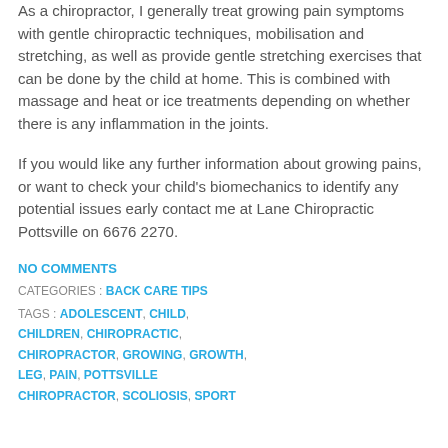As a chiropractor, I generally treat growing pain symptoms with gentle chiropractic techniques, mobilisation and stretching, as well as provide gentle stretching exercises that can be done by the child at home. This is combined with massage and heat or ice treatments depending on whether there is any inflammation in the joints.
If you would like any further information about growing pains, or want to check your child's biomechanics to identify any potential issues early contact me at Lane Chiropractic Pottsville on 6676 2270.
NO COMMENTS
CATEGORIES : BACK CARE TIPS
TAGS : ADOLESCENT, CHILD, CHILDREN, CHIROPRACTIC, CHIROPRACTOR, GROWING, GROWTH, LEG, PAIN, POTTSVILLE CHIROPRACTOR, SCOLIOSIS, SPORT